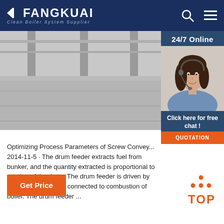FANGKUAI Clean Boiler System Supplier
[Figure (photo): Industrial facility/boiler plant exterior photo showing concrete floor and structural columns]
[Figure (photo): 24/7 Online customer service agent - woman with headset smiling, with Click here for free chat and QUOTATION button]
Optimizing Process Parameters of Screw Convey... 2014-11-5 · The drum feeder extracts fuel from bunker, and the quantity extracted is proportional to rotation of the drum. The drum feeder is driven by speed drive which is connected to combustion of boiler. The drum feeder ...
Get Price
[Figure (logo): TOP icon with orange dots arranged in triangle and orange TOP text]